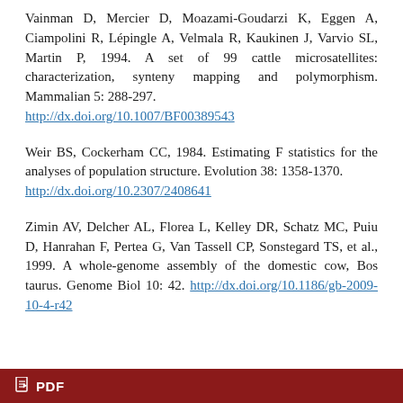Vainman D, Mercier D, Moazami-Goudarzi K, Eggen A, Ciampolini R, Lépingle A, Velmala R, Kaukinen J, Varvio SL, Martin P, 1994. A set of 99 cattle microsatellites: characterization, synteny mapping and polymorphism. Mammalian 5: 288-297. http://dx.doi.org/10.1007/BF00389543
Weir BS, Cockerham CC, 1984. Estimating F statistics for the analyses of population structure. Evolution 38: 1358-1370. http://dx.doi.org/10.2307/2408641
Zimin AV, Delcher AL, Florea L, Kelley DR, Schatz MC, Puiu D, Hanrahan F, Pertea G, Van Tassell CP, Sonstegard TS, et al., 1999. A whole-genome assembly of the domestic cow, Bos taurus. Genome Biol 10: 42. http://dx.doi.org/10.1186/gb-2009-10-4-r42
PDF